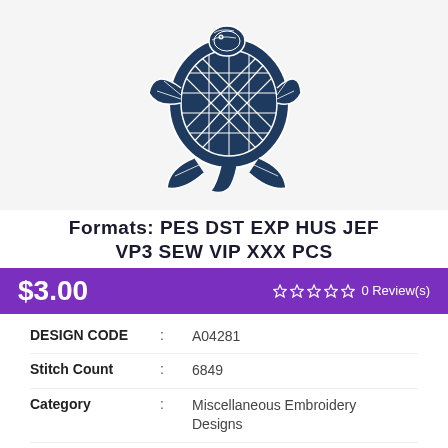[Figure (illustration): Embroidery patch design of a decorative sea turtle in dark navy blue and white, featuring geometric Polynesian-style tribal patterns on the shell and body]
Formats: PES DST EXP HUS JEF VP3 SEW VIP XXX PCS
$3.00  ☆☆☆☆☆ 0 Review(s)
| DESIGN CODE | : | A04281 |
| Stitch Count | : | 6849 |
| Category | : | Miscellaneous Embroidery Designs |
| Formats | : | DST, EXP, HUS, JEF, PCS, PES, |